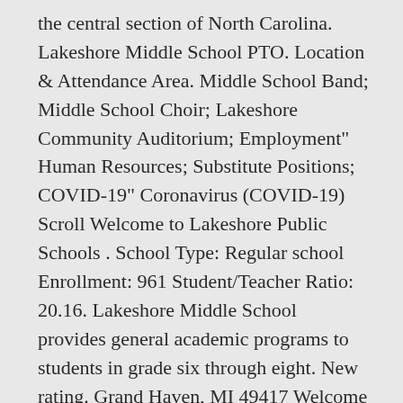the central section of North Carolina. Lakeshore Middle School PTO. Location & Attendance Area. Middle School Band; Middle School Choir; Lakeshore Community Auditorium; Employment" Human Resources; Substitute Positions; COVID-19" Coronavirus (COVID-19) Scroll Welcome to Lakeshore Public Schools . School Type: Regular school Enrollment: 961 Student/Teacher Ratio: 20.16. Lakeshore Middle School provides general academic programs to students in grade six through eight. New rating. Grand Haven, MI 49417 Welcome to the Lakeshore Middle School school picture retake scheduler. Home; Directory; Signups; Store; Calendar; Sponsors; Login; Welcome! Public. Jacksonville, FL 32210–